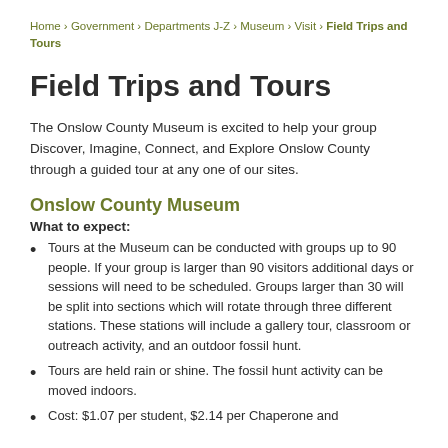Home › Government › Departments J-Z › Museum › Visit › Field Trips and Tours
Field Trips and Tours
The Onslow County Museum is excited to help your group Discover, Imagine, Connect, and Explore Onslow County through a guided tour at any one of our sites.
Onslow County Museum
What to expect:
Tours at the Museum can be conducted with groups up to 90 people. If your group is larger than 90 visitors additional days or sessions will need to be scheduled. Groups larger than 30 will be split into sections which will rotate through three different stations. These stations will include a gallery tour, classroom or outreach activity, and an outdoor fossil hunt.
Tours are held rain or shine. The fossil hunt activity can be moved indoors.
Cost: $1.07 per student, $2.14 per Chaperone and...